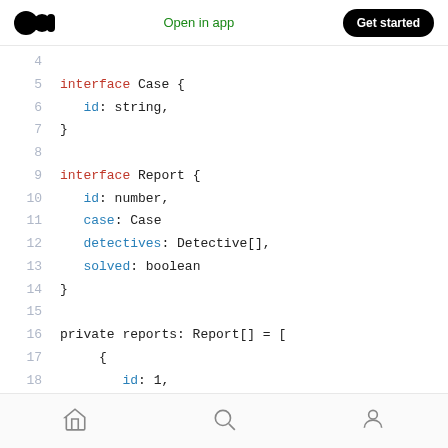Medium logo | Open in app | Get started
[Figure (screenshot): Code editor screenshot showing TypeScript interface definitions: interface Case with id: string, interface Report with id: number, case: Case, detectives: Detective[], solved: boolean, and private reports: Report[] = [ { id: 1, case: {id: 'The Dentice Bandit Returns'} ...]
Home | Search | Profile